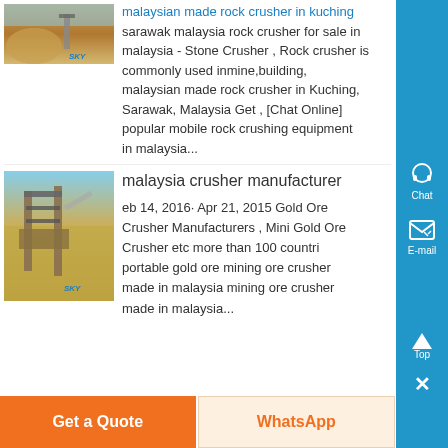[Figure (photo): Thumbnail image of a rock crushing site with sandy/desert terrain, SKY logo watermark]
malaysian made rock crusher in kuching sarawak malaysia rock crusher for sale in malaysia - Stone Crusher , Rock crusher is commonly used inmine,building, malaysian made rock crusher in Kuching, Sarawak, Malaysia Get , [Chat Online] popular mobile rock crushing equipment in malaysia...
[Figure (photo): Thumbnail image of a large industrial crusher/conveyor structure in a desert setting, SKY logo watermark]
malaysia crusher manufacturer
eb 14, 2016· Apr 21, 2015 Gold Ore Crusher Manufacturers , Mini Gold Ore Crusher etc more than 100 countri portable gold ore mining ore crusher made in malaysia mining ore crusher made in malaysia...
Get a Quote
WhatsApp